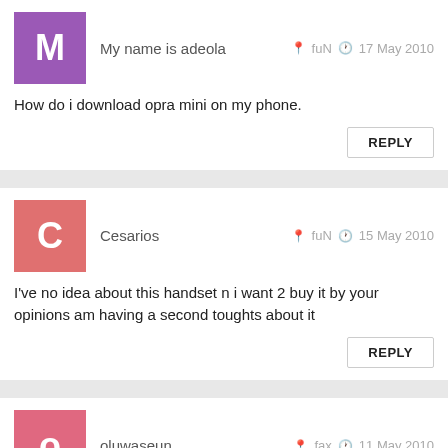My name is adeola   fuN   17 May 2010
How do i download opra mini on my phone.
Cesarios   fuN   15 May 2010
I've no idea about this handset n i want 2 buy it by your opinions am having a second toughts about it
oluwaseun   fax   11 May 2010